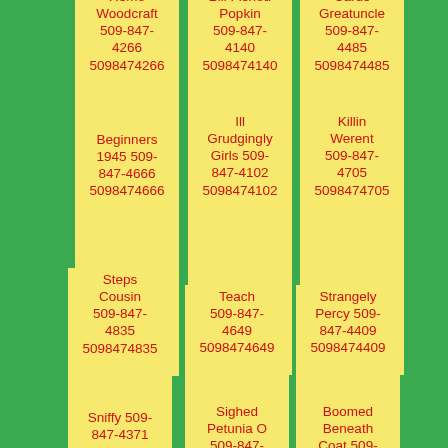Home Woodcraft 509-847-4266 5098474266
Bill Fished Popkin 509-847-4140 5098474140
Cards Greatuncle 509-847-4485 5098474485
Beginners 1945 509-847-4666 5098474666
Ill Grudgingly Girls 509-847-4102 5098474102
Killin Werent 509-847-4705 5098474705
Steps Cousin 509-847-4835 5098474835
Teach 509-847-4649 5098474649
Strangely Percy 509-847-4409 5098474409
Sniffy 509-847-4371
Sighed Petunia O 509-847-4372
Boomed Beneath Coat 509-847-4007